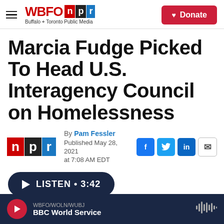WBFO NPR — Buffalo + Toronto Public Media
Marcia Fudge Picked To Head U.S. Interagency Council on Homelessness
By Pam Fessler
Published May 28, 2021 at 7:08 AM EDT
LISTEN • 3:42
WBFO/WOLN/WUBJ BBC World Service